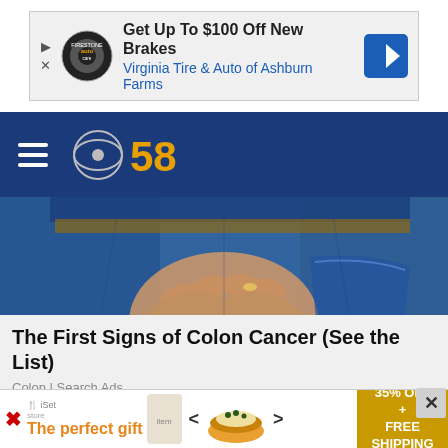[Figure (screenshot): Advertisement banner: 'Get Up To $100 Off New Brakes' - Virginia Tire & Auto of Ashburn Farms]
[Figure (logo): CBS 58 navigation bar with hamburger menu and CBS 58 logo on dark blue background]
[Figure (photo): Photo of person in jeans holding lower back/stomach area]
The First Signs of Colon Cancer (See the List)
Colon | Search Ads
[Figure (photo): Partial second article photo showing warm-toned image]
[Figure (screenshot): Bottom advertisement: 'The perfect gift' with product carousel and '35% OFF + FREE SHIPPING' promo box]